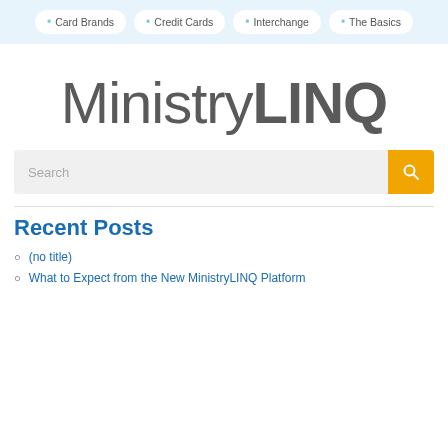Card Brands · Credit Cards · Interchange · The Basics
[Figure (logo): MinistryLINQ logo in large gray text, 'Ministry' in light weight and 'LINQ' in bold weight]
Search
Recent Posts
(no title)
What to Expect from the New MinistryLINQ Platform